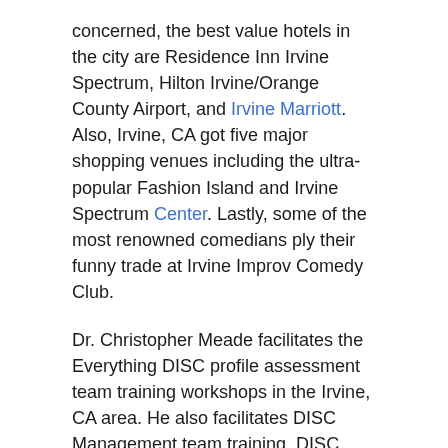concerned, the best value hotels in the city are Residence Inn Irvine Spectrum, Hilton Irvine/Orange County Airport, and Irvine Marriott. Also, Irvine, CA got five major shopping venues including the ultra-popular Fashion Island and Irvine Spectrum Center. Lastly, some of the most renowned comedians ply their funny trade at Irvine Improv Comedy Club.
Dr. Christopher Meade facilitates the Everything DISC profile assessment team training workshops in the Irvine, CA area. He also facilitates DISC Management team training, DISC Customer Service training, DISC Sales training, DISC Work of Leaders Training, and DISC Workplace Communication workshops and team training.